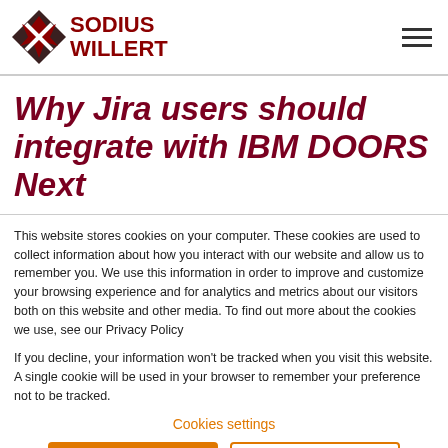SODIUS WILLERT
Why Jira users should integrate with IBM DOORS Next
This website stores cookies on your computer. These cookies are used to collect information about how you interact with our website and allow us to remember you. We use this information in order to improve and customize your browsing experience and for analytics and metrics about our visitors both on this website and other media. To find out more about the cookies we use, see our Privacy Policy
If you decline, your information won't be tracked when you visit this website. A single cookie will be used in your browser to remember your preference not to be tracked.
Cookies settings
Accept All Cookies
Decline All Cookies